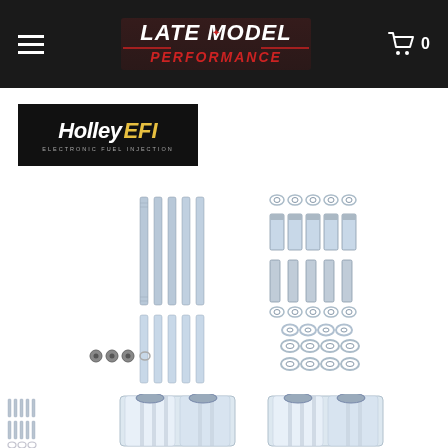Late Model Performance — navigation header with hamburger menu and cart
[Figure (logo): Holley EFI Electronic Fuel Injection logo, black background with white Holley and gold EFI lettering]
[Figure (photo): Hardware kit photo showing bolts, studs, nuts, washers, and small fastener components laid out on white background]
[Figure (photo): Bottom row showing hardware kit screws and intake manifold throttle body components, polished chrome finish]